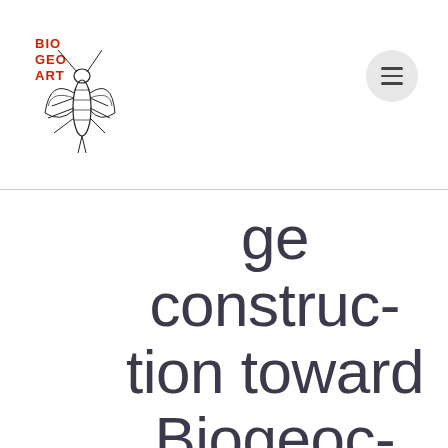[Figure (logo): BioGeoArt logo: text BIO GEO ART in red stacked on left, with a detailed black ink illustration of an insect (cicada or similar) to the right]
ge construction toward Biogeocultural heritage conserva